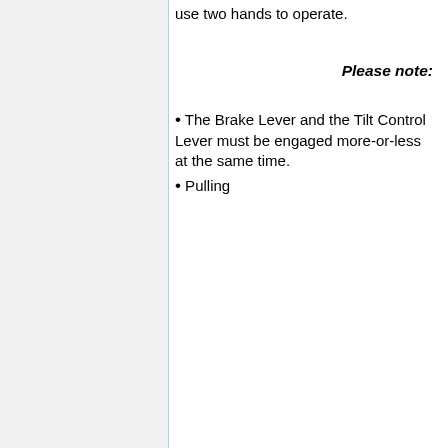use two hands to operate.
Please note:
The Brake Lever and the Tilt Control Lever must be engaged more-or-less at the same time.
Pulling